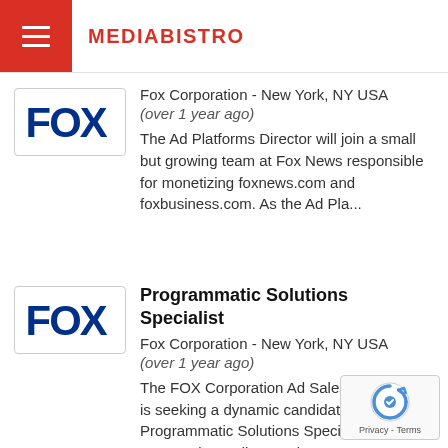MEDIABISTRO
Fox Corporation - New York, NY USA
(over 1 year ago)
The Ad Platforms Director will join a small but growing team at Fox News responsible for monetizing foxnews.com and foxbusiness.com. As the Ad Pla...
Programmatic Solutions Specialist
Fox Corporation - New York, NY USA
(over 1 year ago)
The FOX Corporation Ad Sales Department is seeking a dynamic candidate for the Programmatic Solutions Specialist role to support the Audienc Insig...